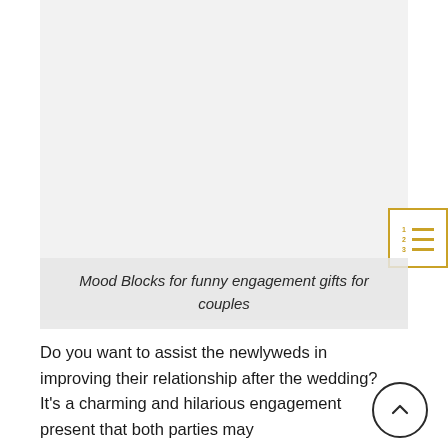[Figure (photo): Light gray placeholder image block for Mood Blocks product photo]
Mood Blocks for funny engagement gifts for couples
Do you want to assist the newlyweds in improving their relationship after the wedding? It's a charming and hilarious engagement present that both parties may